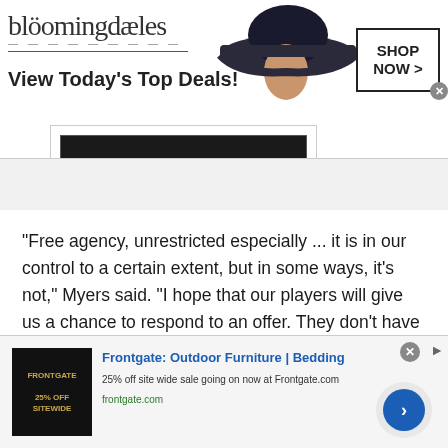[Figure (screenshot): Bloomingdales advertisement banner: logo, 'View Today's Top Deals!' tagline, woman with hat, and 'SHOP NOW >' button]
"Free agency, unrestricted especially ... it is in our control to a certain extent, but in some ways, it's not," Myers said. "I hope that our players will give us a chance to respond to an offer. They don't have to. They don't owe it to us. But that's what you get if you win and you create a good environment. You might get a chance to match something.
[Figure (screenshot): Frontgate: Outdoor Furniture | Bedding advertisement. 25% off site wide sale going on now at Frontgate.com. frontgate.com]